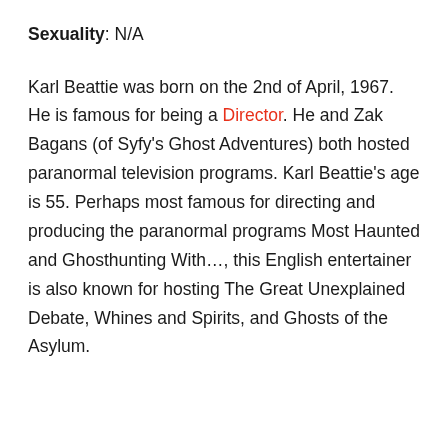Sexuality: N/A
Karl Beattie was born on the 2nd of April, 1967. He is famous for being a Director. He and Zak Bagans (of Syfy's Ghost Adventures) both hosted paranormal television programs. Karl Beattie's age is 55. Perhaps most famous for directing and producing the paranormal programs Most Haunted and Ghosthunting With…, this English entertainer is also known for hosting The Great Unexplained Debate, Whines and Spirits, and Ghosts of the Asylum.